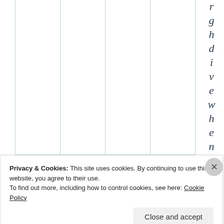[Figure (other): A table or chart area with vertical teal/green column dividers and a column of rotated italic letters on the right side spelling out letters g, h, d, i, v, e, w, h, e, n stacked vertically]
Privacy & Cookies: This site uses cookies. By continuing to use this website, you agree to their use.
To find out more, including how to control cookies, see here: Cookie Policy
Close and accept